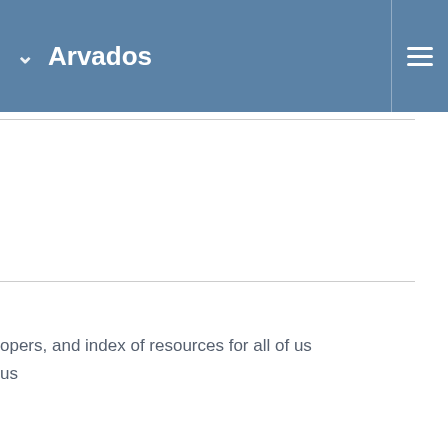Arvados
opers, and index of resources for all of us
us